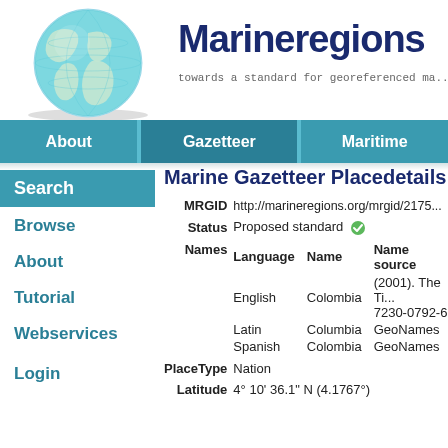[Figure (logo): Marineregions.org globe logo with teal/cyan world map sphere]
Marineregions
towards a standard for georeferenced ma...
About | Gazetteer | Maritime
Marine Gazetteer Placedetails
Search
Browse
About
Tutorial
Webservices
Login
| Field | Value |
| --- | --- |
| MRGID | http://marineregions.org/mrgid/2175... |
| Status | Proposed standard ✓ |
| Names | Language | Name | Name source
English | Colombia | (2001). The Ti... 7230-0792-6.
Latin | Columbia | GeoNames
Spanish | Colombia | GeoNames |
| PlaceType | Nation |
| Latitude | 4° 10' 36.1" N (4.1767°) |